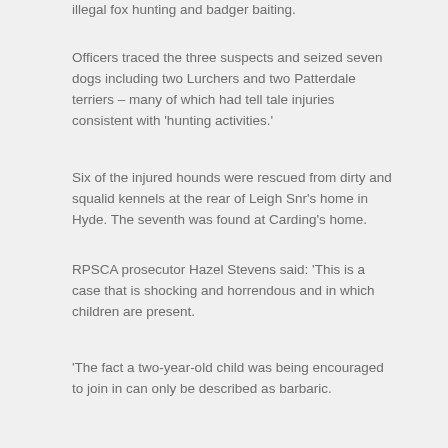illegal fox hunting and badger baiting.
Officers traced the three suspects and seized seven dogs including two Lurchers and two Patterdale terriers – many of which had tell tale injuries consistent with 'hunting activities.'
Six of the injured hounds were rescued from dirty and squalid kennels at the rear of Leigh Snr's home in Hyde. The seventh was found at Carding's home.
RPSCA prosecutor Hazel Stevens said: 'This is a case that is shocking and horrendous and in which children are present.
'The fact a two-year-old child was being encouraged to join in can only be described as barbaric.